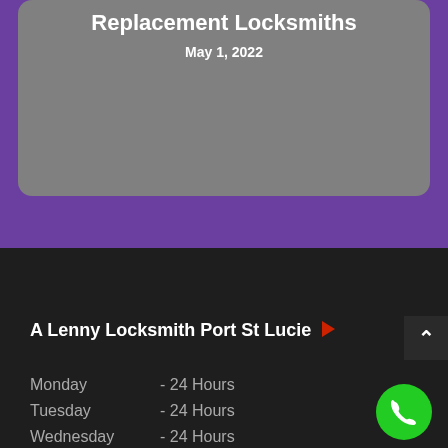Replacement Locksmiths
May 1, 2022
A Lenny Locksmith Port St Lucie
Monday    - 24 Hours
Tuesday   - 24 Hours
Wednesday - 24 Hours
Thursday  - 24 Hours